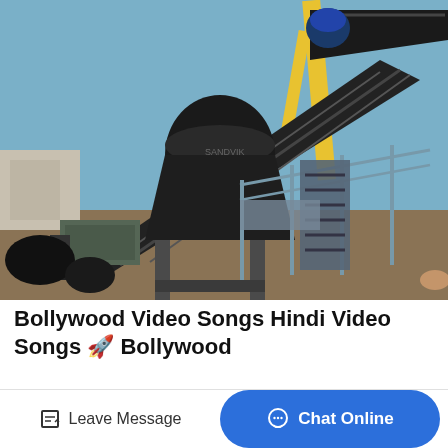[Figure (photo): Industrial mining or aggregate processing equipment with conveyor belts, a cone crusher, and heavy machinery set outdoors under a blue sky. The equipment is dark grey/black and the background shows a flat open industrial yard.]
Bollywood Video Songs Hindi Video Songs 🚀 Bollywood
Bollywood...